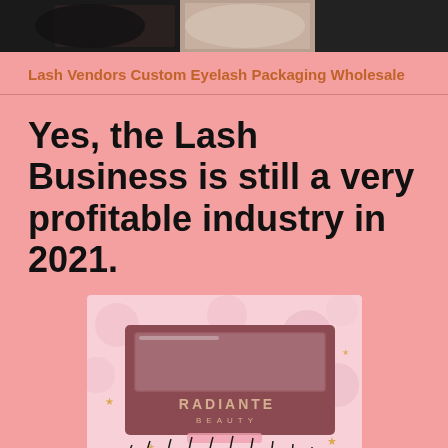[Figure (photo): Top banner with close-up photos of eyelashes and lash packaging products against dark background]
Lash Vendors Custom Eyelash Packaging Wholesale
Yes, the Lash Business is still a very profitable industry in 2021.
[Figure (photo): RADIANTE BEAUTY branded lash packaging box in dark rose/mauve color with clear window, displayed on pink floral background with false eyelashes visible below]